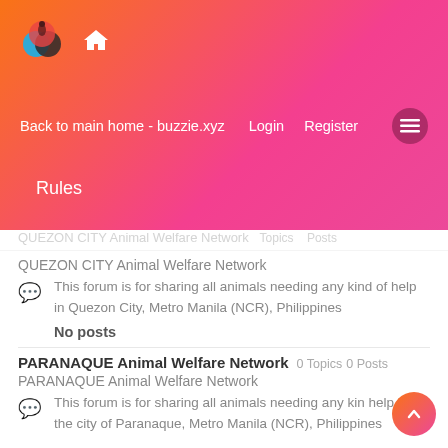[Figure (logo): Buzzie.xyz logo with colorful circles and home icon]
Back to main home - buzzie.xyz   Login   Register
Rules
QUEZON CITY Animal Welfare Network
This forum is for sharing all animals needing any kind of help in Quezon City, Metro Manila (NCR), Philippines
No posts
PARANAQUE Animal Welfare Network  0 Topics 0 Posts
PARANAQUE Animal Welfare Network
This forum is for sharing all animals needing any kind of help in the city of Paranaque, Metro Manila (NCR), Philippines